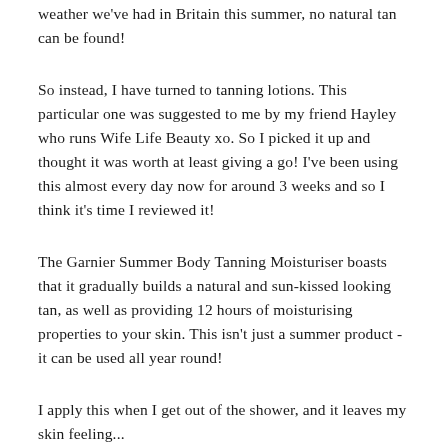weather we've had in Britain this summer, no natural tan can be found!
So instead, I have turned to tanning lotions. This particular one was suggested to me by my friend Hayley who runs Wife Life Beauty xo. So I picked it up and thought it was worth at least giving a go! I've been using this almost every day now for around 3 weeks and so I think it's time I reviewed it!
The Garnier Summer Body Tanning Moisturiser boasts that it gradually builds a natural and sun-kissed looking tan, as well as providing 12 hours of moisturising properties to your skin. This isn't just a summer product - it can be used all year round!
I apply this when I get out of the shower, and it leaves my skin feeling...